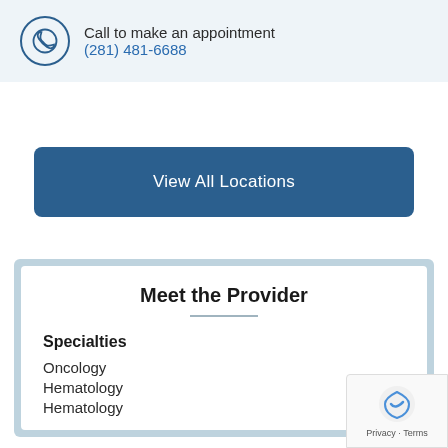Call to make an appointment
(281) 481-6688
View All Locations
Meet the Provider
Specialties
Oncology
Hematology
Hematology